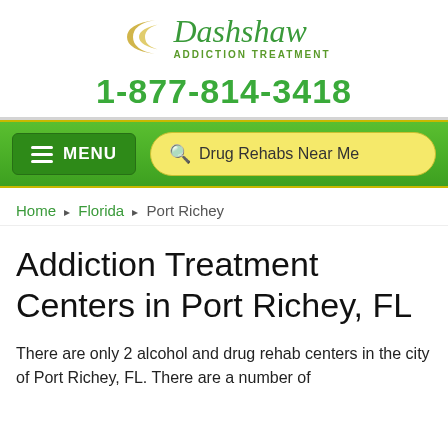[Figure (logo): Dashshaw Addiction Treatment logo with golden crescent moon shapes and green italic text]
1-877-814-3418
MENU   Drug Rehabs Near Me
Home › Florida › Port Richey
Addiction Treatment Centers in Port Richey, FL
There are only 2 alcohol and drug rehab centers in the city of Port Richey, FL. There are a number of